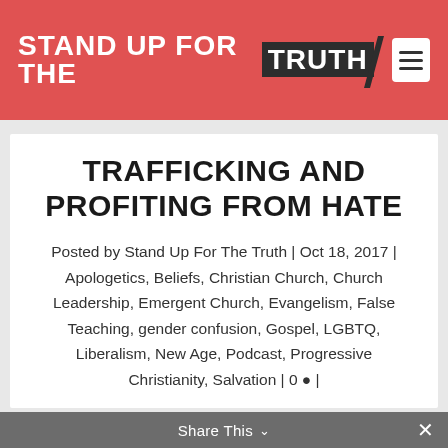STAND UP FOR THE TRUTH
TRAFFICKING AND PROFITING FROM HATE
Posted by Stand Up For The Truth | Oct 18, 2017 | Apologetics, Beliefs, Christian Church, Church Leadership, Emergent Church, Evangelism, False Teaching, gender confusion, Gospel, LGBTQ, Liberalism, New Age, Podcast, Progressive Christianity, Salvation | 0 |